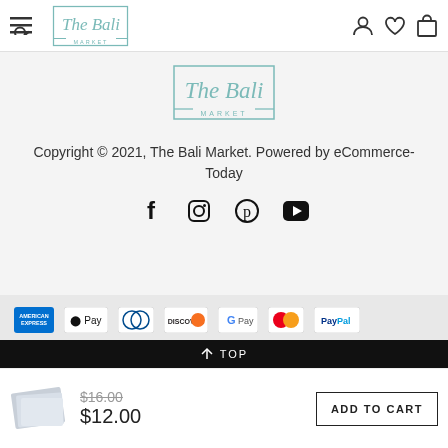The Bali Market — navigation bar with menu, search, account, wishlist, cart icons
[Figure (logo): The Bali Market logo — cursive teal text in a rectangle]
Copyright © 2021, The Bali Market. Powered by eCommerce-Today
[Figure (infographic): Social media icons: Facebook, Instagram, Pinterest, YouTube]
[Figure (infographic): Payment method logos: American Express, Apple Pay, Diners Club, Discover, G Pay, Mastercard, PayPal, Shop Pay, Visa]
↑ TOP
[Figure (photo): Product thumbnail image of folded gray fabric/towel]
$16.00 (strikethrough) $12.00
ADD TO CART